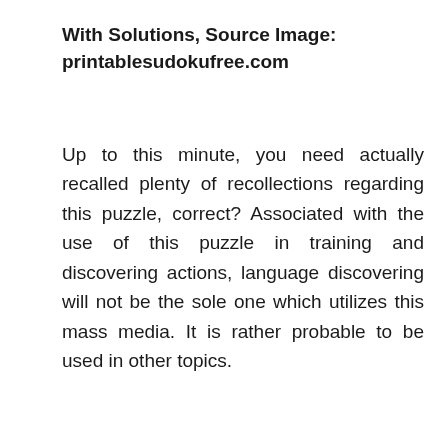With Solutions, Source Image: printablesudokufree.com
Up to this minute, you need actually recalled plenty of recollections regarding this puzzle, correct? Associated with the use of this puzzle in training and discovering actions, language discovering will not be the sole one which utilizes this mass media. It is rather probable to be used in other topics.